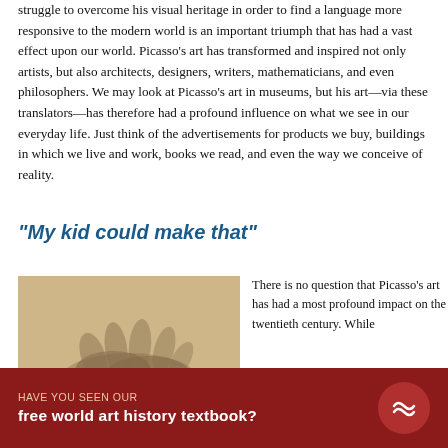struggle to overcome his visual heritage in order to find a language more responsive to the modern world is an important triumph that has had a vast effect upon our world. Picasso's art has transformed and inspired not only artists, but also architects, designers, writers, mathematicians, and even philosophers. We may look at Picasso's art in museums, but his art—via these translators—has therefore had a profound influence on what we see in our everyday life. Just think of the advertisements for products we buy, buildings in which we live and work, books we read, and even the way we conceive of reality.
“My kid could make that”
[Figure (photo): A sepia-toned sketch or photograph showing hands, possibly a drawing study, on aged paper background.]
There is no question that Picasso’s art has had a most profound impact on the twentieth century. While
HAVE YOU SEEN OUR
free world art history textbook?